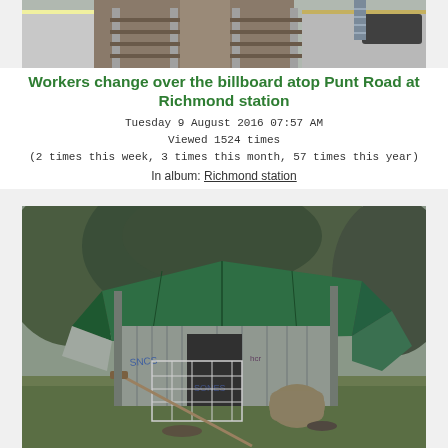[Figure (photo): Railway platform and tracks viewed from above, showing two rail lines with gravel ballast and platform edge markings visible on the left side.]
Workers change over the billboard atop Punt Road at Richmond station
Tuesday 9 August 2016 07:57 AM
Viewed 1524 times
(2 times this week, 3 times this month, 57 times this year)
In album: Richmond station
[Figure (photo): A makeshift shelter or shanty structure covered with a green tarpaulin roof, with corrugated metal walls and graffiti, surrounded by trees and grass.]